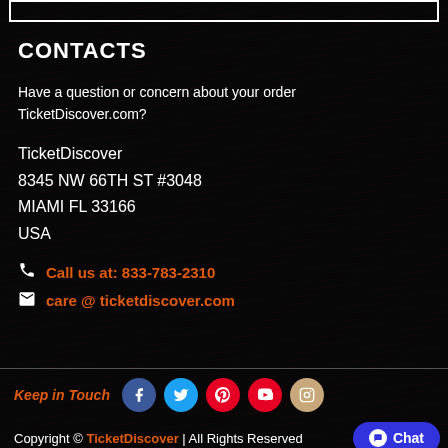CONTACTS
Have a question or concern about your order TicketDiscover.com?
TicketDiscover
8345 NW 66TH ST #3048
MIAMI FL 33166
USA
Call us at: 833-783-2310
care @ ticketdiscover.com
Keep in Touch
Copyright © TicketDiscover | All Rights Reserved